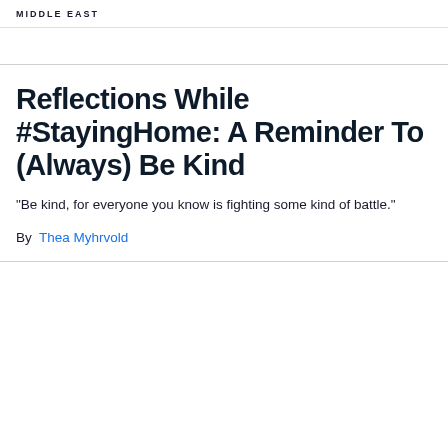MIDDLE EAST
Reflections While #StayingHome: A Reminder To (Always) Be Kind
"Be kind, for everyone you know is fighting some kind of battle."
By  Thea Myhrvold